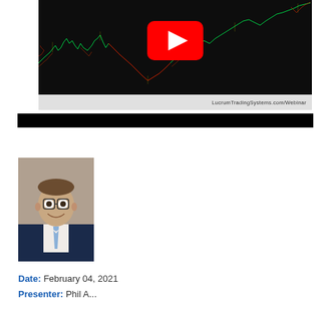[Figure (screenshot): Trading chart screenshot with YouTube play button overlay showing candlestick/line chart on dark background. URL bar shows LucrumTradingSystems.com/Webinar]
[Figure (photo): Professional headshot of a young man in a dark suit with glasses, smiling, against a neutral background]
Date: February 04, 2021
Presenter: Phil A...